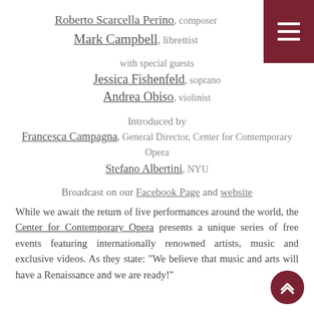Roberto Scarcella Perino, composer
Mark Campbell, librettist
with special guests
Jessica Fishenfeld, soprano
Andrea Obiso, violinist
Introduced by
Francesca Campagna, General Director, Center for Contemporary Opera
Stefano Albertini, NYU
Broadcast on our Facebook Page and website
While we await the return of live performances around the world, the Center for Contemporary Opera presents a unique series of free events featuring internationally renowned artists, music and exclusive videos. As they state: "We believe that music and arts will have a Renaissance and we are ready!"